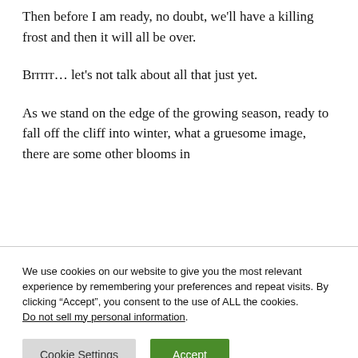Then before I am ready, no doubt, we'll have a killing frost and then it will all be over.
Brrrrr… let's not talk about all that just yet.
As we stand on the edge of the growing season, ready to fall off the cliff into winter, what a gruesome image, there are some other blooms in
We use cookies on our website to give you the most relevant experience by remembering your preferences and repeat visits. By clicking “Accept”, you consent to the use of ALL the cookies. Do not sell my personal information.
Cookie Settings  Accept